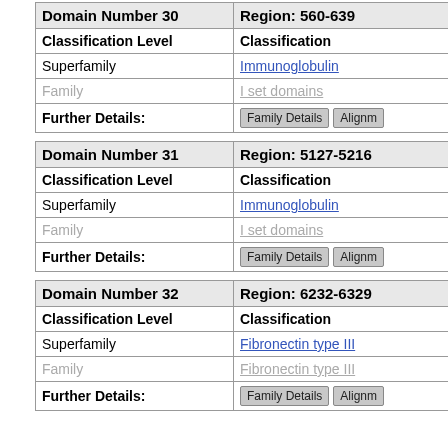| Domain Number 30 | Region: 560-639 |
| --- | --- |
| Classification Level | Classification |
| Superfamily | Immunoglobulin |
| Family | I set domains |
| Further Details: | Family Details  Alignm |
| Domain Number 31 | Region: 5127-5216 |
| --- | --- |
| Classification Level | Classification |
| Superfamily | Immunoglobulin |
| Family | I set domains |
| Further Details: | Family Details  Alignm |
| Domain Number 32 | Region: 6232-6329 |
| --- | --- |
| Classification Level | Classification |
| Superfamily | Fibronectin type III |
| Family | Fibronectin type III |
| Further Details: | Family Details  Alignm |